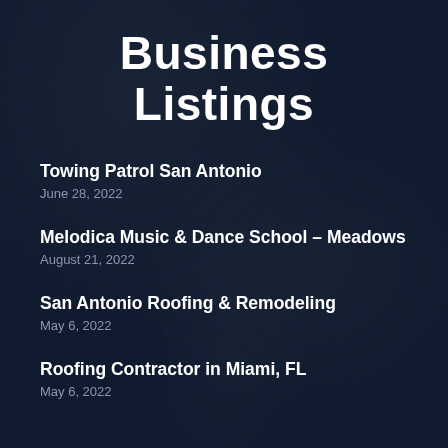Business Listings
Towing Patrol San Antonio
June 28, 2022
Melodica Music & Dance School – Meadows
August 21, 2022
San Antonio Roofing & Remodeling
May 6, 2022
Roofing Contractor in Miami, FL
May 6, 2022